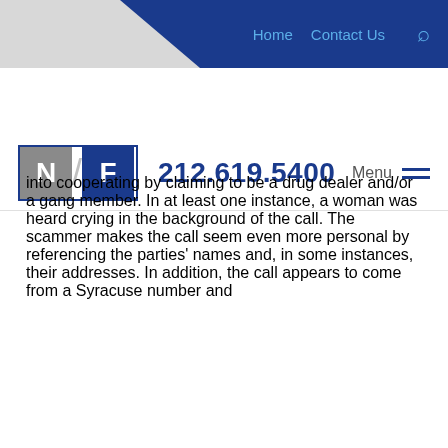Home  Contact Us  [search]
[Figure (logo): NF law firm logo with phone number 212.619.5400 and Menu navigation]
into cooperating by claiming to be a drug dealer and/or a gang member. In at least one instance, a woman was heard crying in the background of the call. The scammer makes the call seem even more personal by referencing the parties' names and, in some instances, their addresses. In addition, the call appears to come from a Syracuse number and